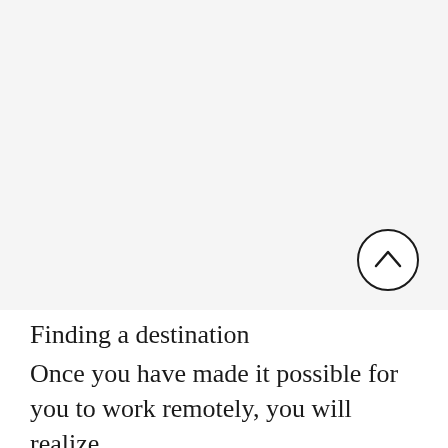[Figure (photo): A large mostly blank/white image area occupying the top portion of the page, with a faint watermark or ghost image in the center]
[Figure (other): A circular scroll-to-top button with an upward chevron arrow, positioned at the lower right of the image area]
Finding a destination
Once you have made it possible for you to work remotely, you will realize